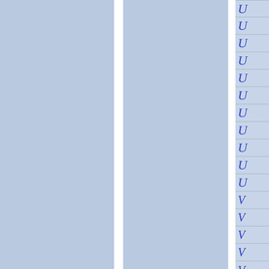[Figure (other): A layout/index page from what appears to be a reference book or dictionary. It shows two large light blue panels separated by a white vertical divider strip on the left side. On the right edge, there is a narrow column divided into cells by horizontal lines. Each cell contains a letter in italic blue cursive/script font. The visible letters from top to bottom are: U, U, U, U, U, U, U, U, U, U, U, V, V, V, V, V - suggesting an alphabetical index or tab guide for navigating sections beginning with U and V.]